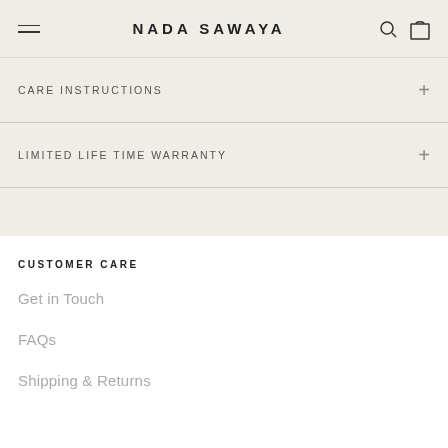NADA SAWAYA
CARE INSTRUCTIONS
LIMITED LIFE TIME WARRANTY
CUSTOMER CARE
Get in Touch
FAQs
Shipping & Returns